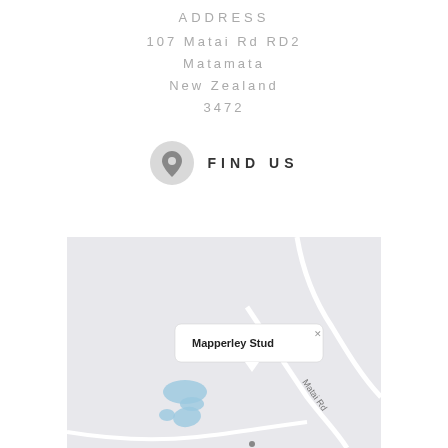ADDRESS
107 Matai Rd RD2
Matamata
New Zealand
3472
FIND US
[Figure (map): Google Maps screenshot showing Mapperley Stud location on Matai Rd, Matamata, New Zealand. Map shows rural area with water bodies (ponds), roads including Matai Rd, and a location pin popup labeled 'Mapperley Stud'.]